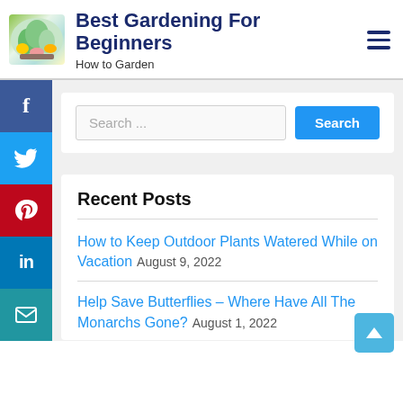Best Gardening For Beginners
How to Garden
[Figure (logo): Gardening logo with vegetables and plants]
Search ...
Recent Posts
How to Keep Outdoor Plants Watered While on Vacation  August 9, 2022
Help Save Butterflies – Where Have All The Monarchs Gone?  August 1, 2022